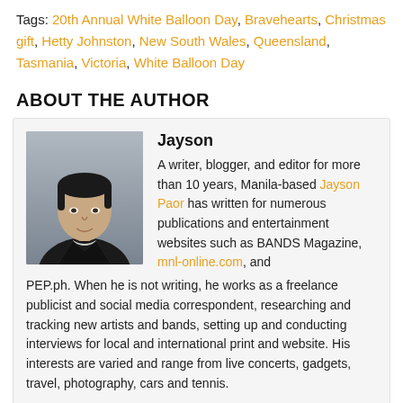Tags: 20th Annual White Balloon Day, Bravehearts, Christmas gift, Hetty Johnston, New South Wales, Queensland, Tasmania, Victoria, White Balloon Day
ABOUT THE AUTHOR
[Figure (photo): Headshot photo of Jayson, a young man with short dark hair wearing a black jacket]
Jayson
A writer, blogger, and editor for more than 10 years, Manila-based Jayson Paor has written for numerous publications and entertainment websites such as BANDS Magazine, mnl-online.com, and PEP.ph. When he is not writing, he works as a freelance publicist and social media correspondent, researching and tracking new artists and bands, setting up and conducting interviews for local and international print and website. His interests are varied and range from live concerts, gadgets, travel, photography, cars and tennis.